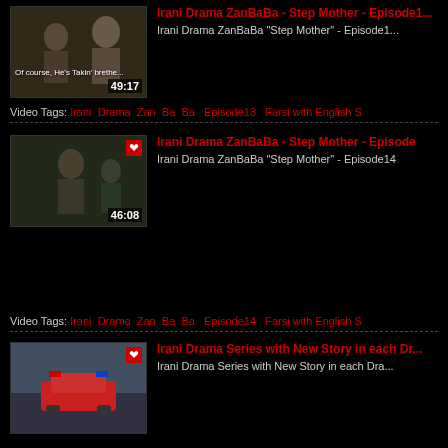[Figure (screenshot): Video thumbnail for Irani Drama ZanBaBa Episode 13, duration 49:17]
Irani Drama ZanBaBa - Step Mother - Episode13
Irani Drama ZanBaBa "Step Mother" - Episode13
Video Tags: Irani Drama Zan Ba Ba  Episode13  Farsi with English S
[Figure (screenshot): Video thumbnail for Irani Drama ZanBaBa Episode 14, duration 46:08]
Irani Drama ZanBaBa - Step Mother - Episode
Irani Drama ZanBaBa "Step Mother" - Episode14
Video Tags: Irani Drama Zan Ba Ba  Episode14  Farsi with English S
[Figure (screenshot): Video thumbnail for Irani Drama Series with New Story in each Drama]
Irani Drama Series with New Story in each Dr
Irani Drama Series with New Story in each Drama